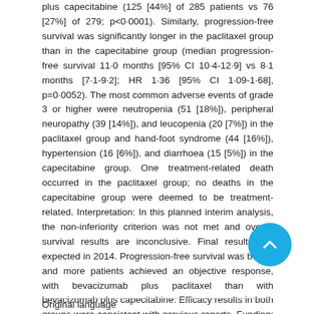plus capecitabine (125 [44%] of 285 patients vs 76 [27%] of 279; p<0·0001). Similarly, progression-free survival was significantly longer in the paclitaxel group than in the capecitabine group (median progression-free survival 11·0 months [95% CI 10·4-12·9] vs 8·1 months [7·1-9·2]; HR 1·36 [95% CI 1·09-1·68], p=0·0052). The most common adverse events of grade 3 or higher were neutropenia (51 [18%]), peripheral neuropathy (39 [14%]), and leucopenia (20 [7%]) in the paclitaxel group and hand-foot syndrome (44 [16%]), hypertension (16 [6%]), and diarrhoea (15 [5%]) in the capecitabine group. One treatment-related death occurred in the paclitaxel group; no deaths in the capecitabine group were deemed to be treatment-related. Interpretation: In this planned interim analysis, the non-inferiority criterion was not met and overall survival results are inconclusive. Final results are expected in 2014. Progression-free survival was better, and more patients achieved an objective response, with bevacizumab plus paclitaxel than with bevacizumab plus capecitabine. Efficacy results in both groups were consistent with previous reports. Funding: Central European Cooperative Oncology Group; Roche.
Original language